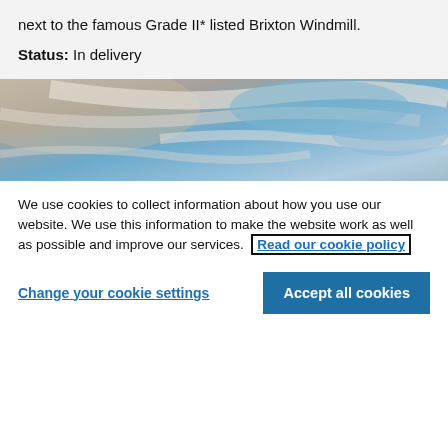next to the famous Grade II* listed Brixton Windmill.
Status: In delivery
[Figure (photo): Sky photo showing blue sky with wispy clouds and warm-toned upper left area]
We use cookies to collect information about how you use our website. We use this information to make the website work as well as possible and improve our services. Read our cookie policy
Change your cookie settings
Accept all cookies